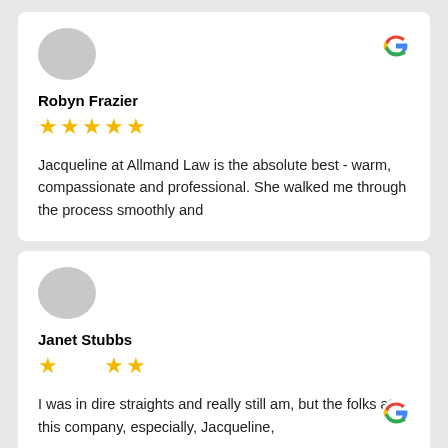[Figure (illustration): Gray circle avatar placeholder for reviewer Robyn Frazier]
Robyn Frazier
[Figure (illustration): Five yellow star rating]
[Figure (logo): Google G logo in multicolor]
Jacqueline at Allmand Law is the absolute best - warm, compassionate and professional. She walked me through the process smoothly and
[Figure (illustration): Gray circle avatar placeholder for reviewer Janet Stubbs]
Janet Stubbs
[Figure (illustration): Five yellow star rating (partially obscured by scroll button)]
[Figure (logo): Google G logo in multicolor]
[Figure (illustration): Dark scroll-up button overlay with caret/chevron symbol]
I was in dire straights and really still am, but the folks at this company, especially, Jacqueline,